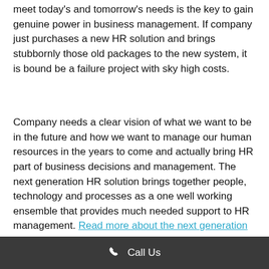meet today's and tomorrow's needs is the key to gain genuine power in business management. If company just purchases a new HR solution and brings stubbornly those old packages to the new system, it is bound be a failure project with sky high costs.
Company needs a clear vision of what we want to be in the future and how we want to manage our human resources in the years to come and actually bring HR part of business decisions and management. The next generation HR solution brings together people, technology and processes as a one well working ensemble that provides much needed support to HR management. Read more about the next generation HR solution and how it provides tools to bring HR part of business management.
Call Us